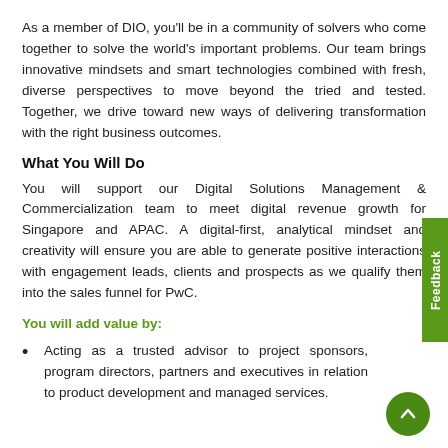As a member of DIO, you'll be in a community of solvers who come together to solve the world's important problems. Our team brings innovative mindsets and smart technologies combined with fresh, diverse perspectives to move beyond the tried and tested. Together, we drive toward new ways of delivering transformation with the right business outcomes.
What You Will Do
You will support our Digital Solutions Management & Commercialization team to meet digital revenue growth for Singapore and APAC. A digital-first, analytical mindset and creativity will ensure you are able to generate positive interactions with engagement leads, clients and prospects as we qualify them into the sales funnel for PwC.
You will add value by:
Acting as a trusted advisor to project sponsors, program directors, partners and executives in relation to product development and managed services.